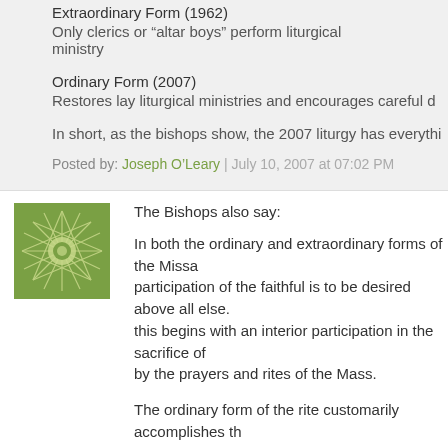Extraordinary Form (1962)
Only clerics or “altar boys” perform liturgical ministry
Ordinary Form (2007)
Restores lay liturgical ministries and encourages careful d…
In short, as the bishops show, the 2007 liturgy has everythi…
Posted by: Joseph O’Leary | July 10, 2007 at 07:02 PM
[Figure (illustration): Green avatar icon with starburst/flower pattern]
The Bishops also say:
In both the ordinary and extraordinary forms of the Missa… participation of the faithful is to be desired above all else. this begins with an interior participation in the sacrifice of… by the prayers and rites of the Mass.
The ordinary form of the rite customarily accomplishes th… to the prayers of the Mass in the vernacular, and by taking…
The extraordinary form accomplishes this participation la… following the words and actions of the Priest and joining our hearts to “what is said…